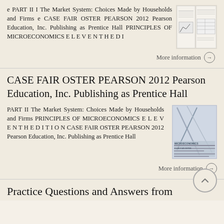e PART II I The Market System: Choices Made by Households and Firms e CASE FAIR OSTER PEARSON 2012 Pearson Education, Inc. Publishing as Prentice Hall PRINCIPLES OF MICROECONOMICS E L E V E N T H E D I
[Figure (screenshot): Thumbnail image of textbook pages showing graphs and tables]
More information →
CASE FAIR OSTER PEARSON 2012 Pearson Education, Inc. Publishing as Prentice Hall
PART II The Market System: Choices Made by Households and Firms PRINCIPLES OF MICROECONOMICS E L E V E N T H E D I T I O N CASE FAIR OSTER PEARSON 2012 Pearson Education, Inc. Publishing as Prentice Hall
[Figure (screenshot): Thumbnail image of Microeconomics textbook cover with geometric lines]
More information →
Practice Questions and Answers from